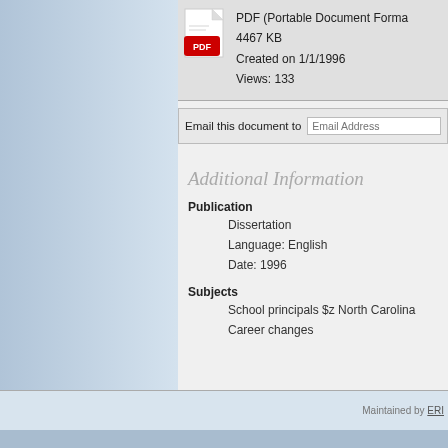[Figure (other): PDF file icon (red Adobe PDF icon) with file info: PDF (Portable Document Format), 4467 KB, Created on 1/1/1996, Views: 133]
Email this document to  [Email Address input field]
Additional Information
Publication
    Dissertation
    Language: English
    Date: 1996
Subjects
    School principals $z North Carolina
    Career changes
Maintained by ERI